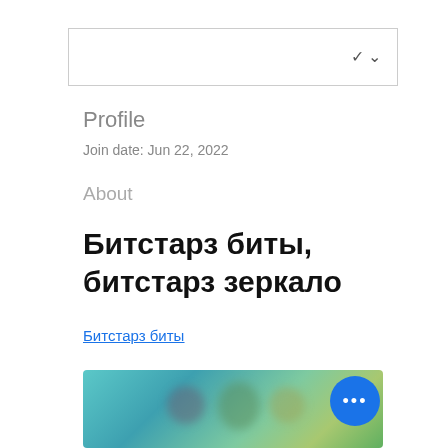[Figure (screenshot): Dropdown/input box with chevron arrow on right side]
Profile
Join date: Jun 22, 2022
About
Битстарз биты, битстарз зеркало
Битстарз биты
[Figure (photo): Blurred image with colorful background and circular more options button]